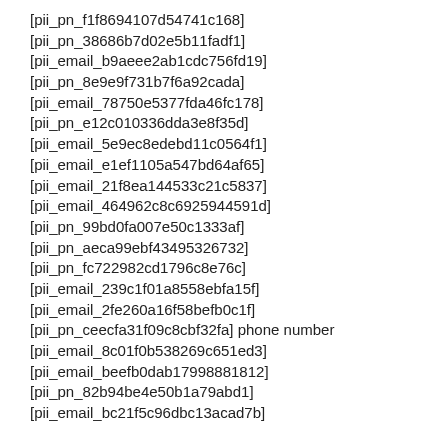[pii_pn_f1f8694107d54741c168]
[pii_pn_38686b7d02e5b11fadf1]
[pii_email_b9aeee2ab1cdc756fd19]
[pii_pn_8e9e9f731b7f6a92cada]
[pii_email_78750e5377fda46fc178]
[pii_pn_e12c010336dda3e8f35d]
[pii_email_5e9ec8edebd11c0564f1]
[pii_email_e1ef1105a547bd64af65]
[pii_email_21f8ea144533c21c5837]
[pii_email_464962c8c6925944591d]
[pii_pn_99bd0fa007e50c1333af]
[pii_pn_aeca99ebf43495326732]
[pii_pn_fc722982cd1796c8e76c]
[pii_email_239c1f01a8558ebfa15f]
[pii_email_2fe260a16f58befb0c1f]
[pii_pn_ceecfa31f09c8cbf32fa] phone number
[pii_email_8c01f0b538269c651ed3]
[pii_email_beefb0dab17998881812]
[pii_pn_82b94be4e50b1a79abd1]
[pii_email_bc21f5c96dbc13acad7b]